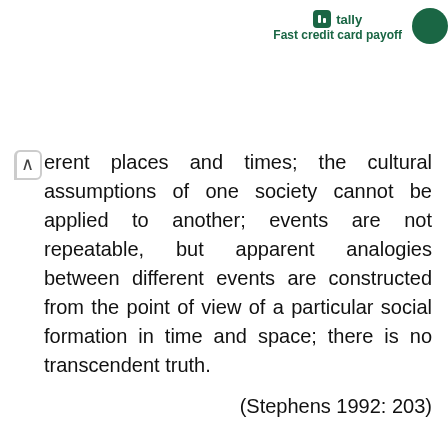tally Fast credit card payoff
erent places and times; the cultural assumptions of one society cannot be applied to another; events are not repeatable, but apparent analogies between different events are constructed from the point of view of a particular social formation in time and space; there is no transcendent truth.
(Stephens 1992: 203)